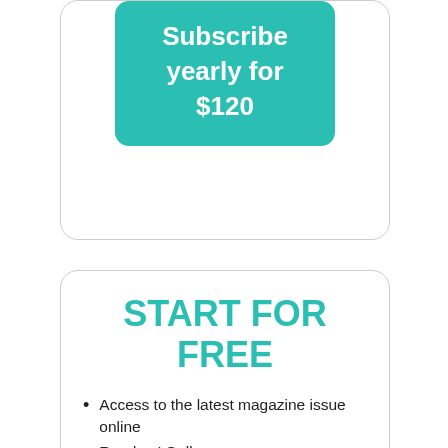Subscribe yearly for $120
START FOR FREE
Access to the latest magazine issue online
Readers' Gallery ($5/entry)